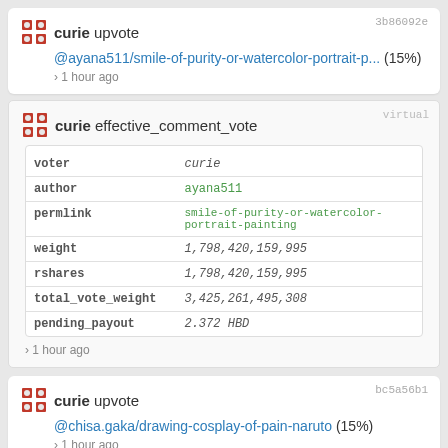curie upvote @ayana511/smile-of-purity-or-watercolor-portrait-p... (15%) · 1 hour ago
| key | value |
| --- | --- |
| voter | curie |
| author | ayana511 |
| permlink | smile-of-purity-or-watercolor-portrait-painting |
| weight | 1,798,420,159,995 |
| rshares | 1,798,420,159,995 |
| total_vote_weight | 3,425,261,495,308 |
| pending_payout | 2.372 HBD |
· 1 hour ago
curie upvote @chisa.gaka/drawing-cosplay-of-pain-naruto (15%) · 1 hour ago
| key | value |
| --- | --- |
| voter | curie |
| author | chisa.gaka |
| permlink | drawing-cosplay-of-pain-naruto |
| weight | 1,803,643,595,688 |